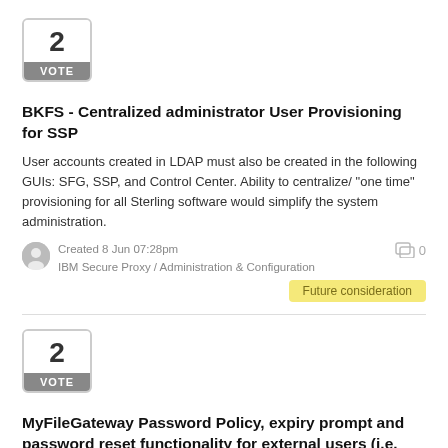[Figure (other): Vote box showing number 2 with VOTE label, first entry]
BKFS - Centralized administrator User Provisioning for SSP
User accounts created in LDAP must also be created in the following GUIs: SFG, SSP, and Control Center. Ability to centralize/ "one time" provisioning for all Sterling software would simplify the system administration.
Created 8 Jun 07:28pm
IBM Secure Proxy / Administration & Configuration
0
Future consideration
[Figure (other): Vote box showing number 2 with VOTE label, second entry]
MyFileGateway Password Policy, expiry prompt and password reset functionality for external users (i.e. LDAP